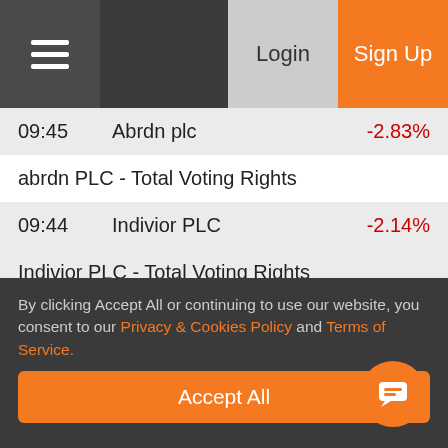Login  Sign Up
09:45   Abrdn plc   -2.83%
abrdn PLC - Total Voting Rights
09:44   Indivior PLC   -2.14%
Indivior PLC - Total Voting Rights
09:42   Proven VCT   0.00%
ProVen VCT plc: Total voting rights
09:42   Johnson Matthey Plc   -1.74%
Johnson Matthey PLC - Total Voting Rights
By clicking Accept All or continuing to use our website, you consent to our Privacy & Cookies Policy and Terms of Service.
Accept All